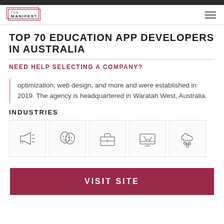THE MANIFEST
TOP 70 EDUCATION APP DEVELOPERS IN AUSTRALIA
NEED HELP SELECTING A COMPANY?
optimization, web design, and more and were established in 2019. The agency is headquartered in Waratah West, Australia.
INDUSTRIES
[Figure (illustration): Five industry icons in bordered boxes: megaphone/advertising, theater masks/arts, briefcase/business, monitor with cart/e-commerce, cloud with network/technology]
VISIT SITE